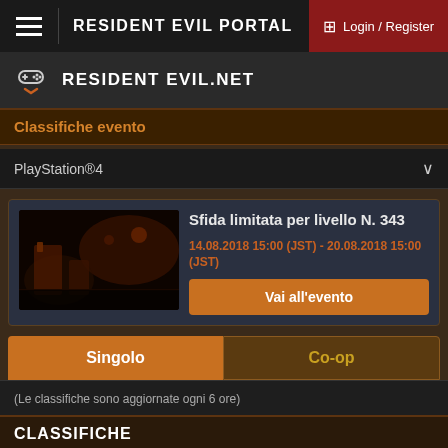RESIDENT EVIL PORTAL | Login / Register
RESIDENT EVIL.NET
Classifiche evento
PlayStation®4
[Figure (screenshot): Dark scene from Resident Evil game showing a dimly lit interior environment]
Sfida limitata per livello N. 343
14.08.2018 15:00 (JST) - 20.08.2018 15:00 (JST)
Vai all'evento
Singolo
Co-op
(Le classifiche sono aggiornate ogni 6 ore)
Classifiche